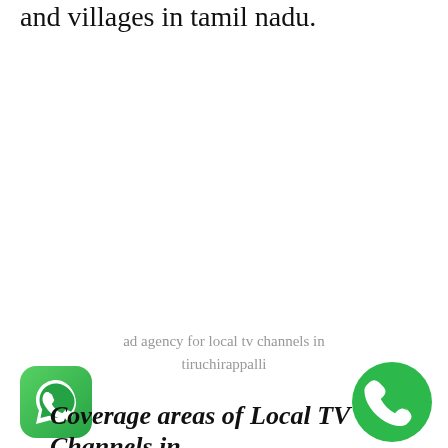and villages in tamil nadu.
ad agency for local tv channels in tiruchirappalli
[Figure (logo): WhatsApp green rounded square icon with white phone handset]
[Figure (logo): Green circle phone call icon with white phone handset]
Coverage areas of Local TV Channels in